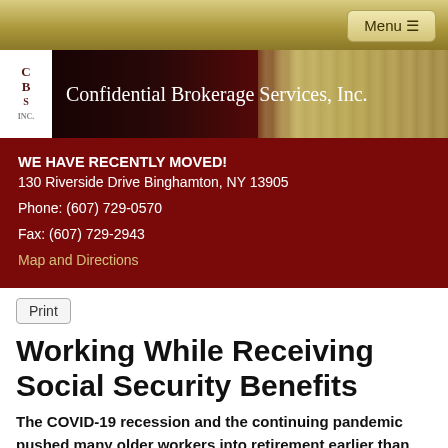[Figure (logo): Navigation menu button with hamburger icon on gold gradient top bar]
[Figure (logo): Confidential Brokerage Services, Inc. header banner with logo and decorative pillar image]
WE HAVE RECENTLY MOVED!
130 Riverside Drive Binghamton, NY 13905
Phone: (607) 729-0570
Fax: (607) 729-2943
Map and Directions
Working While Receiving Social Security Benefits
The COVID-19 recession and the continuing pandemic pushed many older workers into retirement earlier than they had anticipated. A little